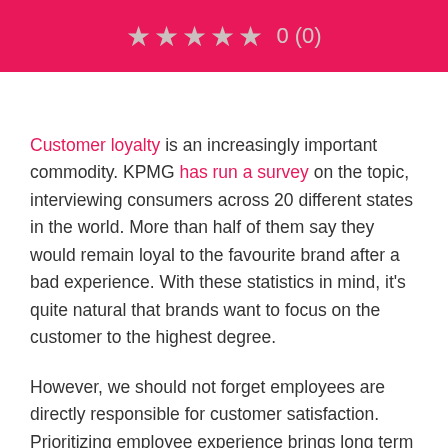★★★★★ 0 (0)
Customer loyalty is an increasingly important commodity. KPMG has run a survey on the topic, interviewing consumers across 20 different states in the world. More than half of them say they would remain loyal to the favourite brand after a bad experience. With these statistics in mind, it's quite natural that brands want to focus on the customer to the highest degree.
However, we should not forget employees are directly responsible for customer satisfaction. Prioritizing employee experience brings long term results and ensures sustainable business growth. There is nothing that can pay